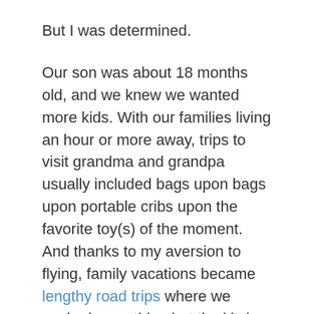But I was determined.
Our son was about 18 months old, and we knew we wanted more kids. With our families living an hour or more away, trips to visit grandma and grandpa usually included bags upon bags upon portable cribs upon the favorite toy(s) of the moment. And thanks to my aversion to flying, family vacations became lengthy road trips where we packed everything but the kitchen sink.
My sedan didn’t seem to fit what we needed from a vehicle anymore. So, for my family, buying a minivan was one of the best investments we ever made.
It’s been the same for many others since Chrysler